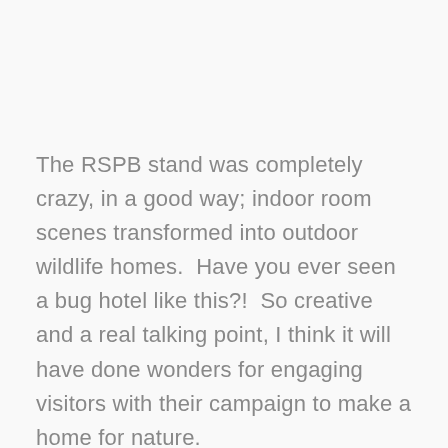The RSPB stand was completely crazy, in a good way; indoor room scenes transformed into outdoor wildlife homes.  Have you ever seen a bug hotel like this?!  So creative and a real talking point, I think it will have done wonders for engaging visitors with their campaign to make a home for nature.